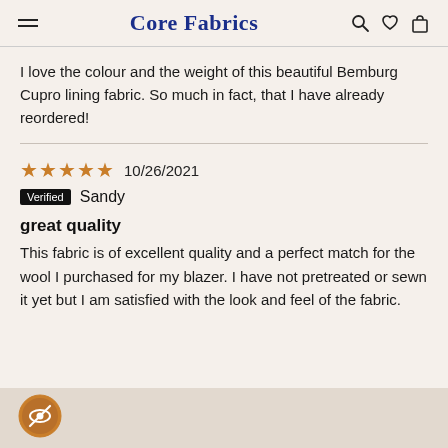Core Fabrics
I love the colour and the weight of this beautiful Bemburg Cupro lining fabric. So much in fact, that I have already reordered!
★★★★★ 10/26/2021
Verified Sandy
great quality
This fabric is of excellent quality and a perfect match for the wool I purchased for my blazer. I have not pretreated or sewn it yet but I am satisfied with the look and feel of the fabric.